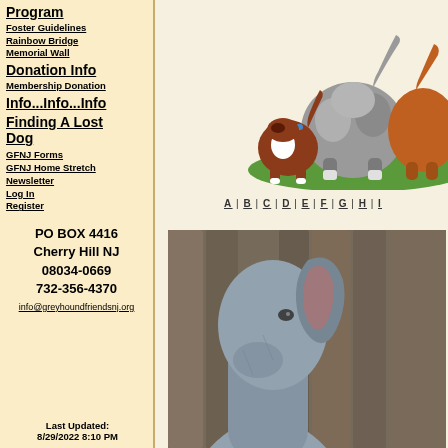Program
Foster Guidelines
Rainbow Bridge Memorial Wall
Donation Info
Membership Donation
Info...Info...Info
Finding A Lost Dog
GFNJ Forms
GFNJ Home Stretch Newsletter
Log In
Register
PO BOX 4416
Cherry Hill NJ
08034-0669
732-356-4370
info@greyhoundfriendsnj.org
Last Updated:
8/29/2022 8:10 PM
[Figure (illustration): Cartoon illustration of three dogs sniffing each other from behind, including a small brown and white dog with a blue collar, a large grey fluffy dog, and a brown dog, standing on green grass.]
A | B | C | D | E | F | G | H | I
[Figure (photo): Close-up photo of a greyhound dog's head and ear in profile, showing grey fur, against a blurred wooden fence background.]